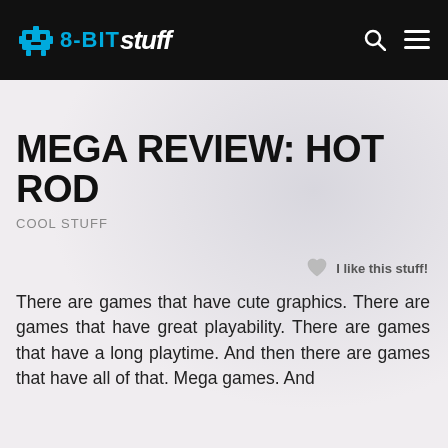8-BIT STUFF
MEGA REVIEW: HOT ROD
COOL STUFF
I like this stuff!
There are games that have cute graphics. There are games that have great playability. There are games that have a long playtime. And then there are games that have all of that. Mega games. And